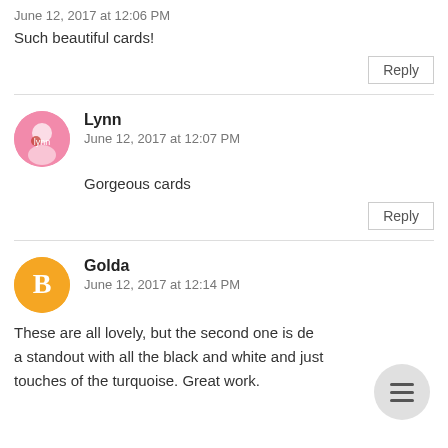June 12, 2017 at 12:06 PM
Such beautiful cards!
Reply
Lynn
June 12, 2017 at 12:07 PM
Gorgeous cards
Reply
Golda
June 12, 2017 at 12:14 PM
These are all lovely, but the second one is de… a standout with all the black and white and just touches of the turquoise. Great work.